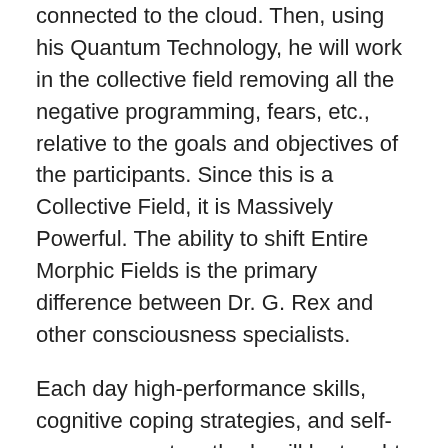connected to the cloud. Then, using his Quantum Technology, he will work in the collective field removing all the negative programming, fears, etc., relative to the goals and objectives of the participants. Since this is a Collective Field, it is Massively Powerful. The ability to shift Entire Morphic Fields is the primary difference between Dr. G. Rex and other consciousness specialists.
Each day high-performance skills, cognitive coping strategies, and self-empowerment methods will be taught in addition to the Morphic Collective Sessions.
Additionally, all participants receive 7 weekly 2-hour follow-up sessions for mastery of the skill sets taught as well as any personal issues.
Dr. G is the author of “WANT MORE?” a book that interprets a Zen treatise for business individuals on how to bust workplace stress and challenges, encapsulated in